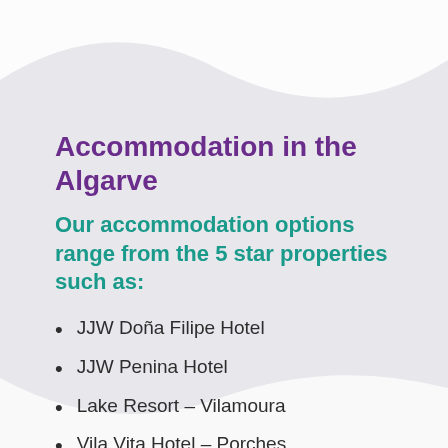Accommodation in the Algarve
Our accommodation options range from the 5 star properties such as:
JJW Doña Filipe Hotel
JJW Penina Hotel
Lake Resort – Vilamoura
Vila Vita Hotel – Porches